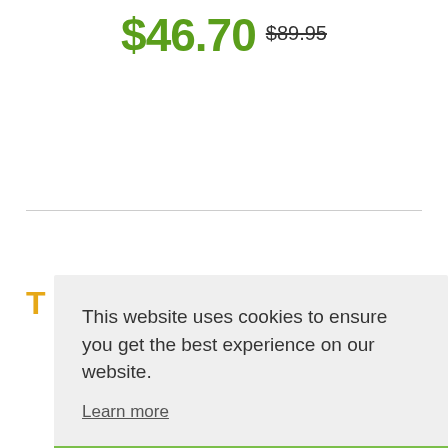$46.70 $89.95
T
This website uses cookies to ensure you get the best experience on our website.
Learn more
Got it!